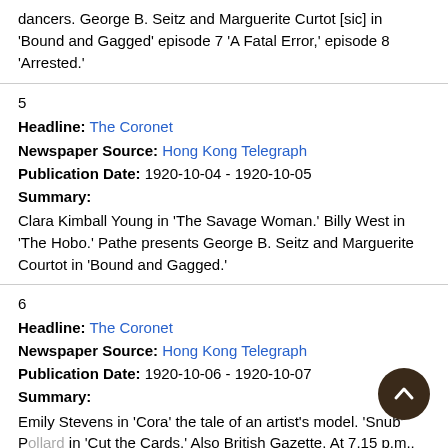dancers. George B. Seitz and Marguerite Curtot [sic] in 'Bound and Gagged' episode 7 'A Fatal Error,' episode 8 'Arrested.'
5
Headline: The Coronet
Newspaper Source: Hong Kong Telegraph
Publication Date: 1920-10-04 - 1920-10-05
Summary:
Clara Kimball Young in 'The Savage Woman.' Billy West in 'The Hobo.' Pathe presents George B. Seitz and Marguerite Courtot in 'Bound and Gagged.'
6
Headline: The Coronet
Newspaper Source: Hong Kong Telegraph
Publication Date: 1920-10-06 - 1920-10-07
Summary:
Emily Stevens in 'Cora' the tale of an artist's model. 'Snub' Pollard in 'Cut the Cards.' Also British Gazette. At 7.15 p.m., episodes 1 and 2 of the Pathe serials 'Bound and Gagged.'